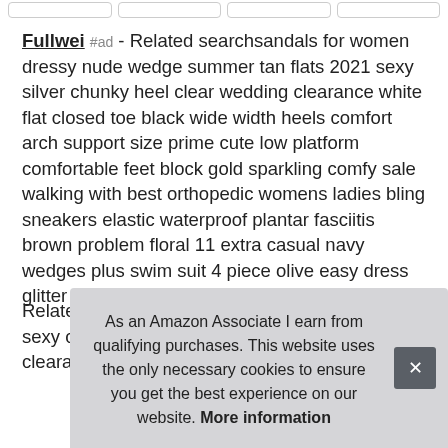Fullwei #ad - Related searchsandals for women dressy nude wedge summer tan flats 2021 sexy silver chunky heel clear wedding clearance white flat closed toe black wide width heels comfort arch support size prime cute low platform comfortable feet block gold sparkling comfy sale walking with best orthopedic womens ladies bling sneakers elastic waterproof plantar fasciitis brown problem floral 11 extra casual navy wedges plus swim suit 4 piece olive easy dress glitter on slip.
Related searchsummer sandals for women 2021 sexy cute dressy black wedge comfortable white clearance with heel prim men
As an Amazon Associate I earn from qualifying purchases. This website uses the only necessary cookies to ensure you get the best experience on our website. More information